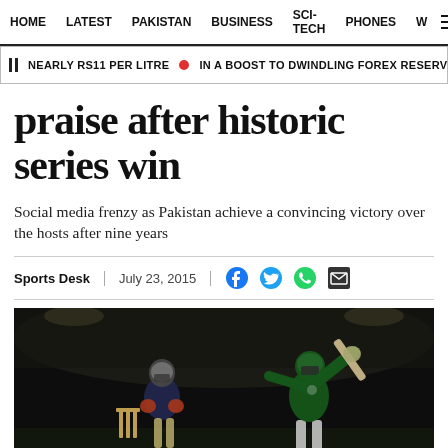HOME  LATEST  PAKISTAN  BUSINESS  SCI-TECH  PHONES  W
NEARLY RS11 PER LITRE  IN A BOOST TO DWINDLING FOREX RESERVES, SBP RE
praise after historic series win
Social media frenzy as Pakistan achieve a convincing victory over the hosts after nine years
Sports Desk  |  July 23, 2015
[Figure (photo): A Pakistan cricket batsman in green uniform playing a shot, with a Sri Lanka wicket-keeper in yellow and blue watching, during a night match.]